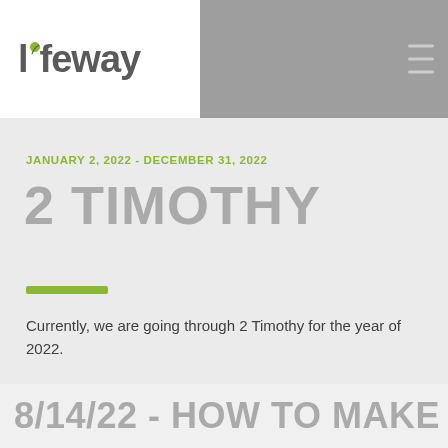lifeway
JANUARY 2, 2022 - DECEMBER 31, 2022
2 TIMOTHY
Currently, we are going through 2 Timothy for the year of 2022.
8/14/22 - HOW TO MAKE